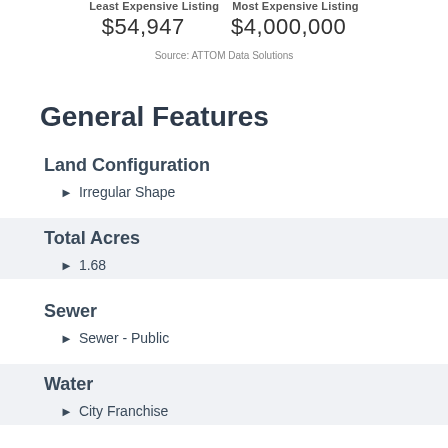Least Expensive Listing    Most Expensive Listing
$54,947    $4,000,000
Source: ATTOM Data Solutions
General Features
Land Configuration
Irregular Shape
Total Acres
1.68
Sewer
Sewer - Public
Water
City Franchise
Ga...